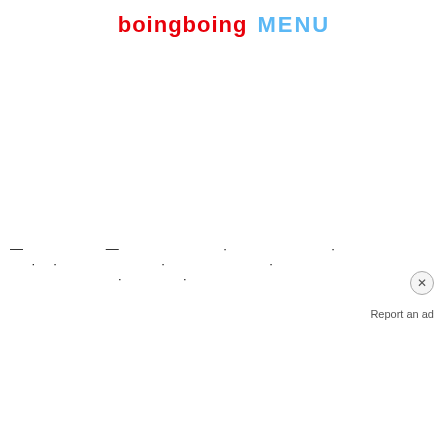boingboing MENU
— . . .. . . . .
Report an ad